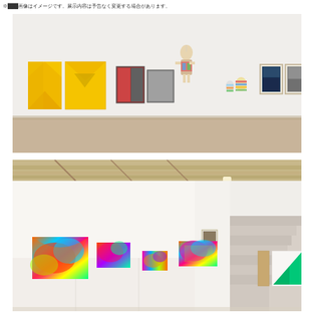※画像はイメージです。展示内容は予告なく変更する場合があります。
[Figure (photo): Gallery installation view showing white walls with various artworks: colorful yellow geometric pieces on left, two mirror/photo panels, a sculptural figure hanging from ceiling, small colorful objects, two framed photos, and a blue canvas with black circular figure on right. Wood floor visible.]
[Figure (photo): Gallery installation view showing a second room with colorful digital art prints on white walls, exposed wooden ceiling beams, a staircase on the right side, and geometric artworks including a teal triangle piece.]